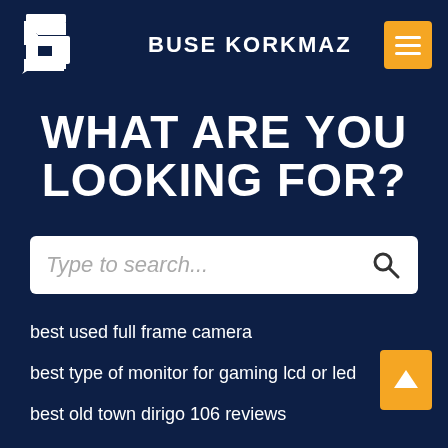[Figure (logo): Buse Korkmaz logo with stylized S/arrow icon and text BUSE KORKMAZ]
WHAT ARE YOU LOOKING FOR?
[Figure (screenshot): Search input box with placeholder text 'Type to search...' and a search magnifier icon]
best used full frame camera
best type of monitor for gaming lcd or led
best old town dirigo 106 reviews
best laptops for emulators
best cheap 6.5 component speakers